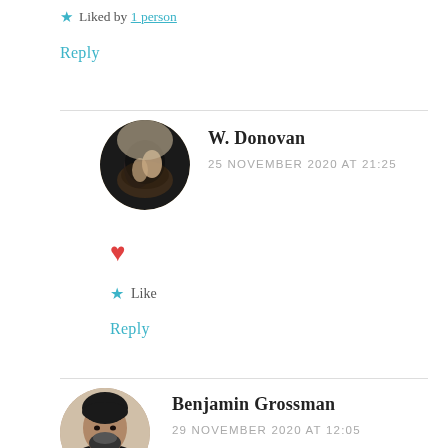★ Liked by 1 person
Reply
W. Donovan
25 NOVEMBER 2020 AT 21:25
[Figure (photo): Circular avatar photo of W. Donovan showing hands/lace detail]
♥
★ Like
Reply
Benjamin Grossman
29 NOVEMBER 2020 AT 12:05
[Figure (photo): Circular avatar photo of Benjamin Grossman, man with beard wearing dark clothing]